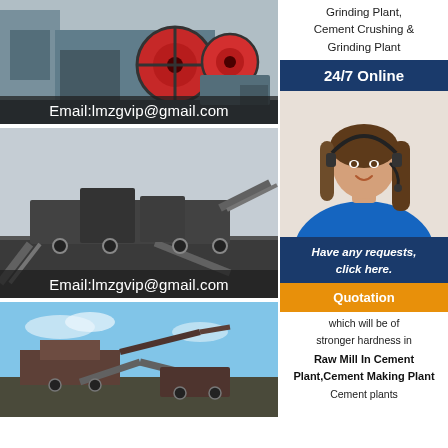[Figure (photo): Industrial jaw crusher machine with large red flywheel, email overlay: Email:lmzgvip@gmail.com]
[Figure (photo): Mobile crushing and screening plant on job site, email overlay: Email:lmzgvip@gmail.com]
[Figure (photo): Mobile crushing equipment at job site with blue sky background]
Grinding Plant, Cement Crushing & Grinding Plant
24/7 Online
[Figure (photo): Customer service representative woman with headset smiling]
Have any requests, click here.
Quotation
which will be of stronger hardness in
Raw Mill In Cement Plant,Cement Making Plant
Cement plants